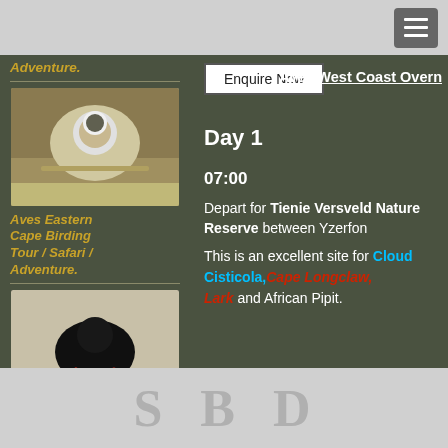Navigation bar with hamburger menu
Adventure.
Enquire Now
Aves West Coast Overn
[Figure (photo): Bird photo - duck or similar waterbird at nest]
Aves Eastern Cape Birding Tour / Safari / Adventure.
Day 1
07:00
Depart for Tienie Versveld Nature Reserve between Yzerfon
This is an excellent site for Cloud Cisticola, Cape Longclaw, Lark and African Pipit.
[Figure (photo): Black bird (ibis) standing on ground]
Aves Highlands / Tembe Birding Tour / Safari /
Watermark / pagination area